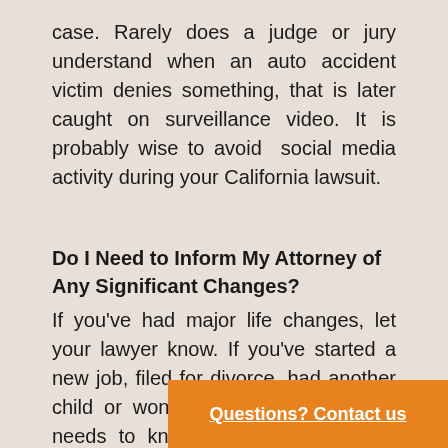case. Rarely does a judge or jury understand when an auto accident victim denies something, that is later caught on surveillance video. It is probably wise to avoid  social media activity during your California lawsuit.
Do I Need to Inform My Attorney of Any Significant Changes?
If you've had major life changes, let your lawyer know. If you've started a new job, filed for divorce, had another child or won the lottery, your lawyer needs to know. The smallest things can affect your case and major changes in your life can impact potential settlement chances. To ensure maximum financial recovery, let your lawyer know of your personal a...
Questions? Contact us